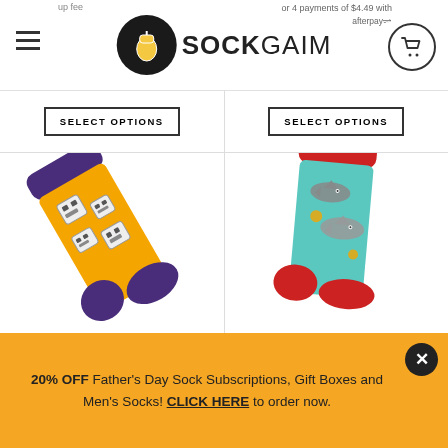SOCKGAIM — navigation header with hamburger menu and cart button
up fee
or 4 payments of $4.49 with afterpay
[Figure (photo): Orange robot-themed sock with purple toe, heel, and cuff accents]
[Figure (photo): Teal shark-themed sock with red toe, heel, and cuff accents]
20% OFF Father's Day Sock Subscriptions, Gift Boxes and Men's Socks! CLICK HERE to order now.